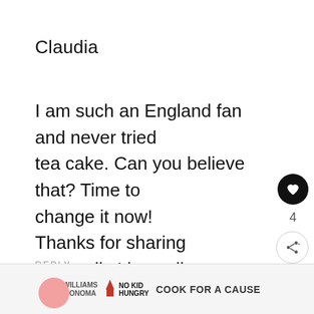Claudia
I am such an England fan and never tried tea cake. Can you believe that? Time to change it now!
Thanks for sharing ...actually I love all the old fashioned stuff.
REPLY
Nico
[Figure (screenshot): Ad banner: Williams Sonoma | No Kid Hungry — Cook for a Cause]
[Figure (screenshot): What's Next panel: Easy Crockpot Tomato Len...]